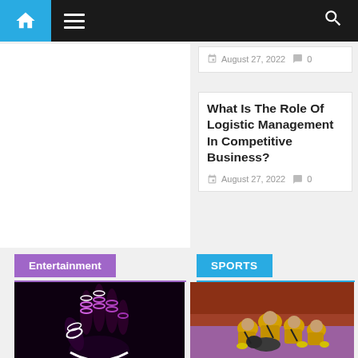Navigation bar with home icon, hamburger menu, and search icon
August 27, 2022   0
What Is The Role Of Logistic Management In Competitive Business?
August 27, 2022   0
Entertainment
SPORTS
[Figure (photo): Hand with colorful light painting on dark background]
[Figure (photo): Kabaddi players in yellow uniforms on a court]